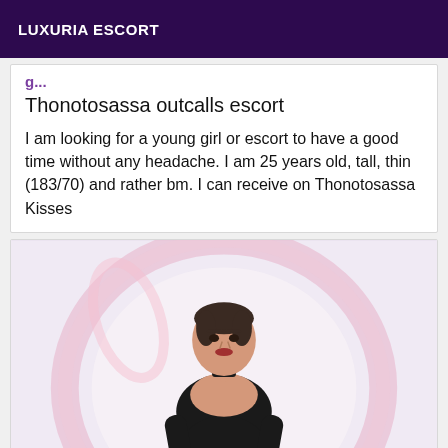LUXURIA ESCORT
Thonotosassa outcalls escort
I am looking for a young girl or escort to have a good time without any headache. I am 25 years old, tall, thin (183/70) and rather bm. I can receive on Thonotosassa Kisses
[Figure (photo): Woman in black leather outfit posing inside a large pink transparent bubble sphere against a white background]